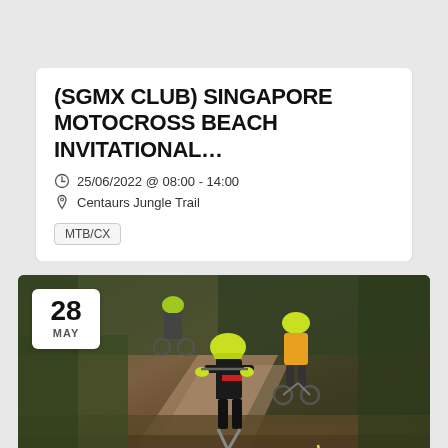(SGMX CLUB) SINGAPORE MOTOCROSS BEACH INVITATIONAL...
25/06/2022 @ 08:00 - 14:00
Centaurs Jungle Trail
MTB/CX
[Figure (photo): Mountain bikers racing downhill on a dirt trail through jungle terrain. Lead rider wearing black jersey with red trim and yellow helmet, followed by another rider in yellow. Date badge showing '28 MAY' in top left corner of photo.]